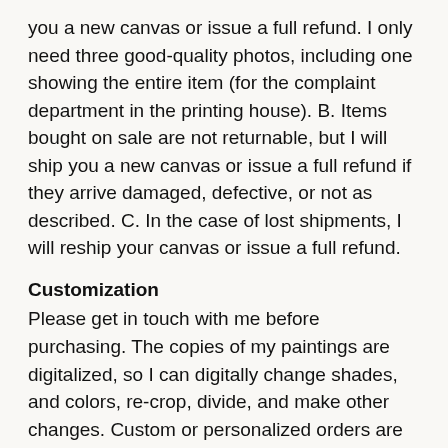you a new canvas or issue a full refund. I only need three good-quality photos, including one showing the entire item (for the complaint department in the printing house). B. Items bought on sale are not returnable, but I will ship you a new canvas or issue a full refund if they arrive damaged, defective, or not as described. C. In the case of lost shipments, I will reship your canvas or issue a full refund.
Customization
Please get in touch with me before purchasing. The copies of my paintings are digitalized, so I can digitally change shades, and colors, re-crop, divide, and make other changes. Custom or personalized orders are not returnable, but in case of arrived damaged, defective, or not as described, I will ship you a new canvas or issue a full refund.
Expedited shipping (international shipping (address